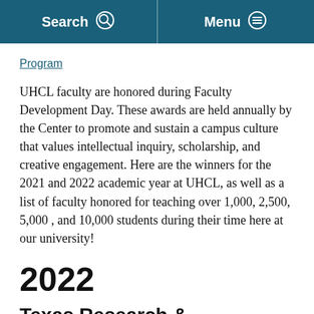Search  Menu
Program
UHCL faculty are honored during Faculty Development Day. These awards are held annually by the Center to promote and sustain a campus culture that values intellectual inquiry, scholarship, and creative engagement. Here are the winners for the 2021 and 2022 academic year at UHCL, as well as a list of faculty honored for teaching over 1,000, 2,500, 5,000 , and 10,000 students during their time here at our university!
2022
Texas Research & Scholarship Award